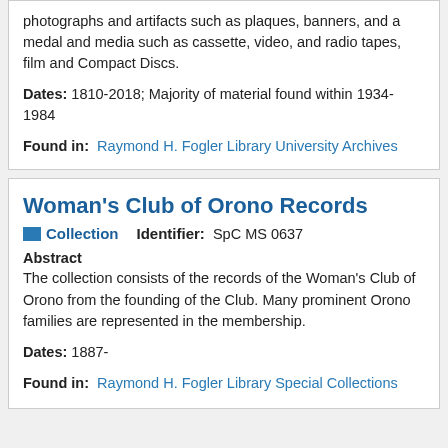photographs and artifacts such as plaques, banners, and a medal and media such as cassette, video, and radio tapes, film and Compact Discs.
Dates: 1810-2018; Majority of material found within 1934-1984
Found in: Raymond H. Fogler Library University Archives
Woman's Club of Orono Records
Collection   Identifier: SpC MS 0637
Abstract
The collection consists of the records of the Woman's Club of Orono from the founding of the Club. Many prominent Orono families are represented in the membership.
Dates: 1887-
Found in: Raymond H. Fogler Library Special Collections